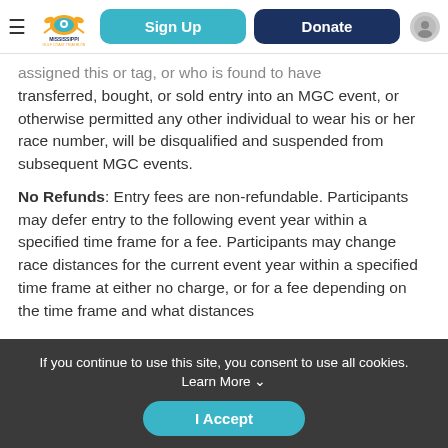Mississippi Gulf Coast Triathlon — Sign Up | Donate
...assigned this or tag, or who is found to have transferred, bought, or sold entry into an MGC event, or otherwise permitted any other individual to wear his or her race number, will be disqualified and suspended from subsequent MGC events.
No Refunds: Entry fees are non-refundable. Participants may defer entry to the following event year within a specified time frame for a fee. Participants may change race distances for the current event year within a specified time frame at either no charge, or for a fee depending on the time frame and what distances
If you continue to use this site, you consent to use all cookies. Learn More